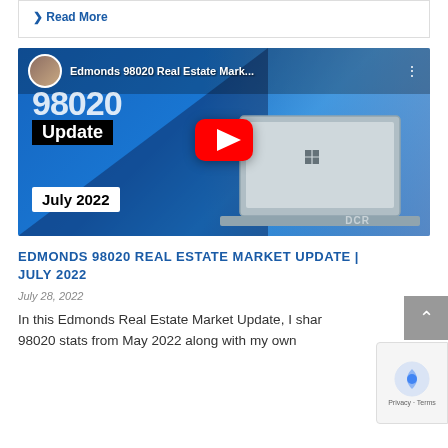❯ Read More
[Figure (screenshot): YouTube video thumbnail for 'Edmonds 98020 Real Estate Mark...' showing a man in a dark shirt with a laptop, overlaid text '98020', 'Update', 'July 2022', and a red YouTube play button. Channel avatar shown in top left corner.]
EDMONDS 98020 REAL ESTATE MARKET UPDATE | JULY 2022
July 28, 2022
In this Edmonds Real Estate Market Update, I shar 98020 stats from May 2022 along with my own